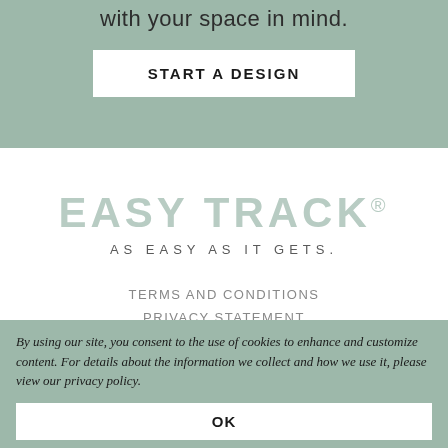with your space in mind.
START A DESIGN
[Figure (logo): Easy Track logo with tagline 'AS EASY AS IT GETS.' in sage/grey tones on white background]
TERMS AND CONDITIONS
PRIVACY STATEMENT
By using our site, you consent to the use of cookies to enhance and customize content. For details about the information we collect and how we use it, please view our privacy policy.
OK